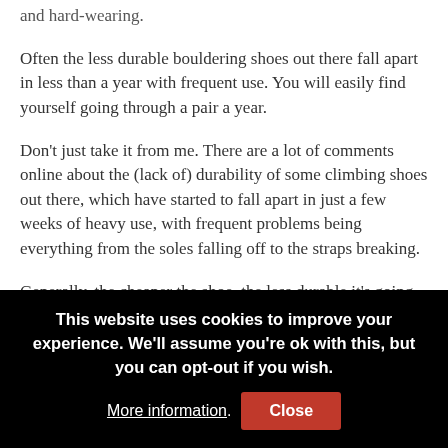and hard-wearing.
Often the less durable bouldering shoes out there fall apart in less than a year with frequent use. You will easily find yourself going through a pair a year.
Don't just take it from me. There are a lot of comments online about the (lack of) durability of some climbing shoes out there, which have started to fall apart in just a few weeks of heavy use, with frequent problems being everything from the soles falling off to the straps breaking.
Generally, the cheaper the shoe, the less durable it's going
This website uses cookies to improve your experience. We'll assume you're ok with this, but you can opt-out if you wish. More information. Close